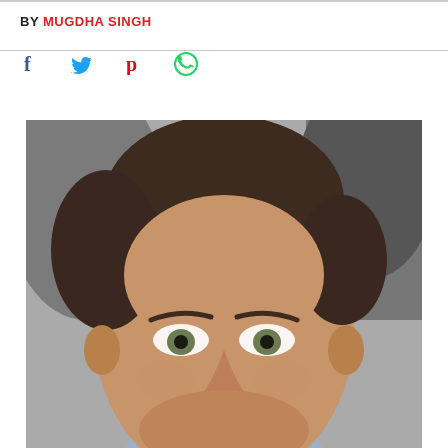BY MUGDHA SINGH
[Figure (photo): Close-up portrait photo of a man with short brown hair, light eyes, and a slight smile, against a blurred dark background]
[Figure (infographic): Social media sharing icons: Facebook (f), Twitter (bird), Pinterest (P), WhatsApp (phone in circle)]